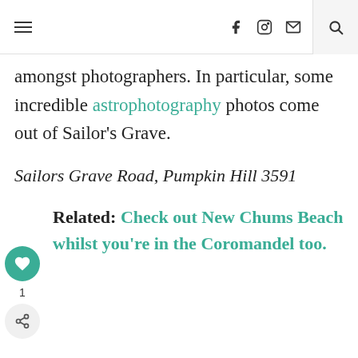≡  f  [instagram]  [mail]  [search]
amongst photographers. In particular, some incredible astrophotography photos come out of Sailor's Grave.
Sailors Grave Road, Pumpkin Hill 3591
Related: Check out New Chums Beach whilst you're in the Coromandel too.